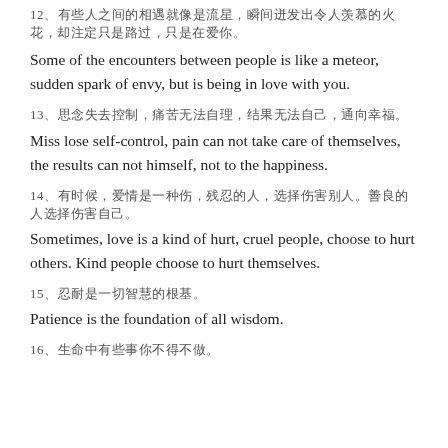12、有些人之间的相遇就像是流星，瞬间迸发出令人羡慕的火花，却注定只是路过，只是在爱你。
Some of the encounters between people is like a meteor, sudden spark of envy, but is being in love with you.
13、思念失去控制，痛苦无法自理，结果无法自己，通向幸福。
Miss lose self-control, pain can not take care of themselves, the results can not himself, not to the happiness.
14、有时候，爱情是一种伤，残忍的人，选择伤害别人。善良的人选择伤害自己。
Sometimes, love is a kind of hurt, cruel people, choose to hurt others. Kind people choose to hurt themselves.
15、忍耐是一切智慧的根基。
Patience is the foundation of all wisdom.
16、生命中有些事你不得不做。